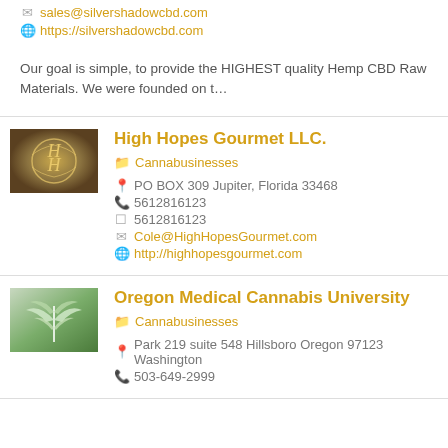sales@silvershadowcbd.com
https://silvershadowcbd.com
Our goal is simple, to provide the HIGHEST quality Hemp CBD Raw Materials. We were founded on t…
High Hopes Gourmet LLC.
Cannabusinesses
PO BOX 309 Jupiter, Florida 33468
5612816123
5612816123
Cole@HighHopesGourmet.com
http://highhopesgourmet.com
Oregon Medical Cannabis University
Cannabusinesses
Park 219 suite 548 Hillsboro Oregon 97123 Washington
503-649-2999